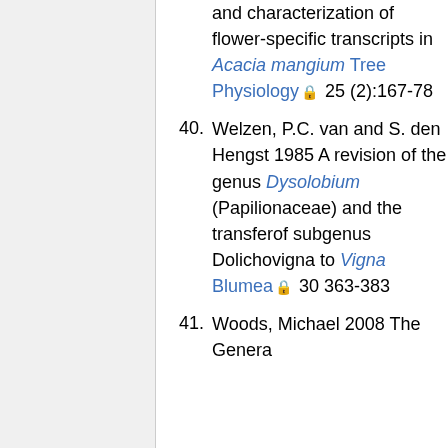and characterization of flower-specific transcripts in Acacia mangium Tree Physiology 25 (2):167-78
40. Welzen, P.C. van and S. den Hengst 1985 A revision of the genus Dysolobium (Papilionaceae) and the transferof subgenus Dolichovigna to Vigna Blumea 30 363-383
41. Woods, Michael 2008 The Genera